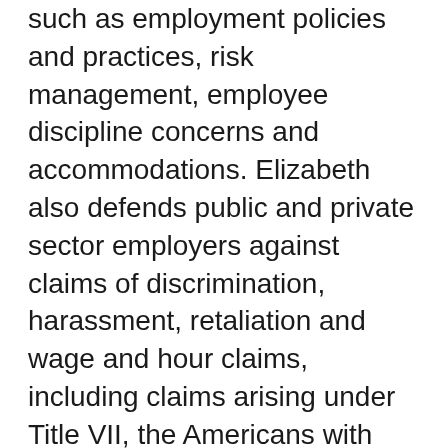such as employment policies and practices, risk management, employee discipline concerns and accommodations. Elizabeth also defends public and private sector employers against claims of discrimination, harassment, retaliation and wage and hour claims, including claims arising under Title VII, the Americans with Disabilities Act, the Age Discrimination in Employment Act, the Illinois Human Rights Act and the Illinois Wage Payment & Collection Act.
Firm Profile: Laner Muchin, Ltd. concentrates exclusively in the representation of employers in labor relations, employment litigation, employee